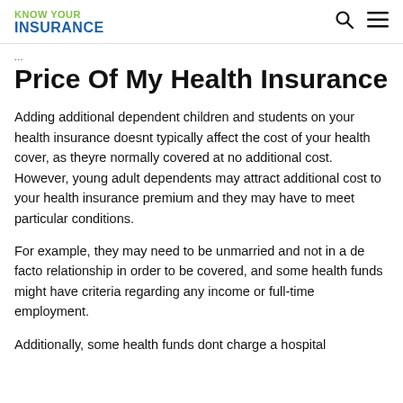KNOW YOUR INSURANCE
Price Of My Health Insurance
Adding additional dependent children and students on your health insurance doesnt typically affect the cost of your health cover, as theyre normally covered at no additional cost. However, young adult dependents may attract additional cost to your health insurance premium and they may have to meet particular conditions.
For example, they may need to be unmarried and not in a de facto relationship in order to be covered, and some health funds might have criteria regarding any income or full-time employment.
Additionally, some health funds dont charge a hospital